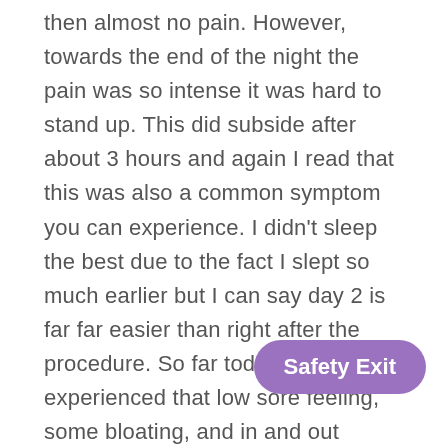then almost no pain. However, towards the end of the night the pain was so intense it was hard to stand up. This did subside after about 3 hours and again I read that this was also a common symptom you can experience. I didn't sleep the best due to the fact I slept so much earlier but I can say day 2 is far far easier than right after the procedure. So far today I have only experienced that low sore feeling, some bloating, and in and out cramping. I am able to move normally again however and almost 100% of my pregnancy symptoms are gone. I almost cried when I didn't wake up nauseated, the last two weeks leading up to my procedure the nausea was so intense I didn't even leave my ho[...] meals that I was able to keep d[...] best feeling in the world. Despite the initial